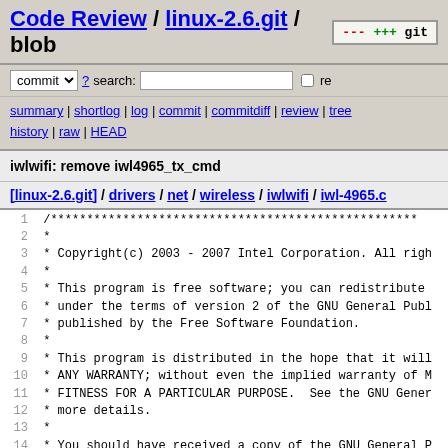Code Review / linux-2.6.git / blob
commit ? search: re
summary | shortlog | log | commit | commitdiff | review | tree history | raw | HEAD
iwlwifi: remove iwl4965_tx_cmd
[linux-2.6.git] / drivers / net / wireless / iwlwifi / iwl-4965.c
1  /***********************************************************...
2   *
3   * Copyright(c) 2003 - 2007 Intel Corporation. All righ...
4   *
5   * This program is free software; you can redistribute...
6   * under the terms of version 2 of the GNU General Publ...
7   * published by the Free Software Foundation.
8   *
9   * This program is distributed in the hope that it will...
10  * ANY WARRANTY; without even the implied warranty of M...
11  * FITNESS FOR A PARTICULAR PURPOSE.  See the GNU Gener...
12  * more details.
13  *
14  * You should have received a copy of the GNU General P...
15  * this program; if not, write to the Free Software Fou...
16  * 51 Franklin Street, Fifth Floor, Boston, MA 02110, U...
17  *
18  * The full GNU General Public License is included in t...
19  * file called LICENSE.